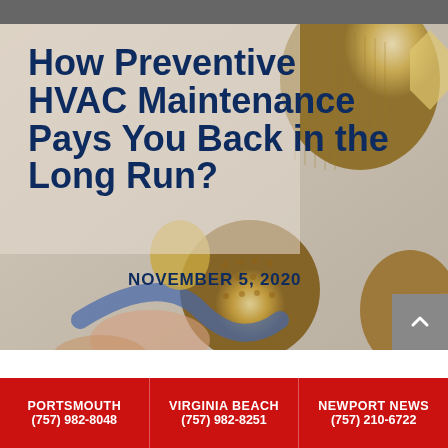[Figure (photo): Close-up photo of brass HVAC fittings and connectors with a blue hose, hands visible in background. Image serves as hero background for article about preventive HVAC maintenance.]
How Preventive HVAC Maintenance Pays You Back in the Long Run?
NOVEMBER 5, 2020
Your heating and cooling system in Portsmouth, VA, is
PORTSMOUTH (757) 982-8048 | VIRGINIA BEACH (757) 982-8251 | NEWPORT NEWS (757) 210-6722